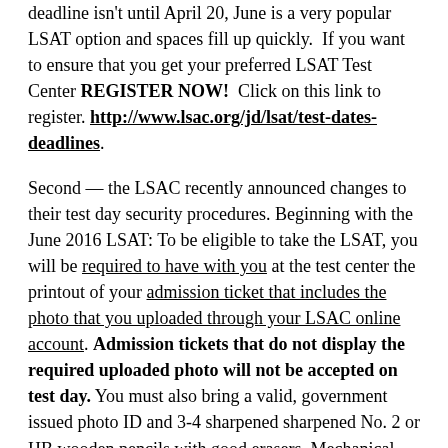deadline isn't until April 20, June is a very popular LSAT option and spaces fill up quickly.  If you want to ensure that you get your preferred LSAT Test Center REGISTER NOW!  Click on this link to register. http://www.lsac.org/jd/lsat/test-dates-deadlines.
Second — the LSAC recently announced changes to their test day security procedures. Beginning with the June 2016 LSAT: To be eligible to take the LSAT, you will be required to have with you at the test center the printout of your admission ticket that includes the photo that you uploaded through your LSAC online account. Admission tickets that do not display the required uploaded photo will not be accepted on test day. You must also bring a valid, government issued photo ID and 3-4 sharpened sharpened No. 2 or HB wooden pencils with good erasers. Mechanical pencils are prohibited.